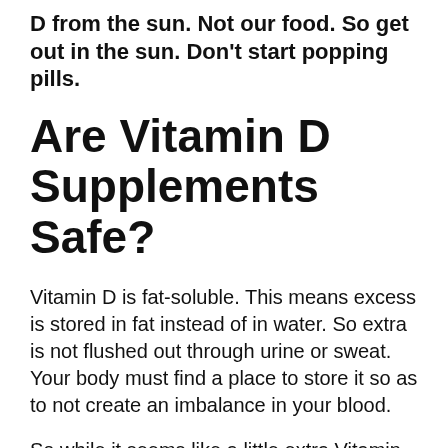D from the sun. Not our food. So get out in the sun. Don't start popping pills.
Are Vitamin D Supplements Safe?
Vitamin D is fat-soluble. This means excess is stored in fat instead of in water. So extra is not flushed out through urine or sweat. Your body must find a place to store it so as to not create an imbalance in your blood.
So while it seems like a little extra Vitamin D is no big deal...it actually is a really big deal.
Hypervitaminosis D is a very serious condition